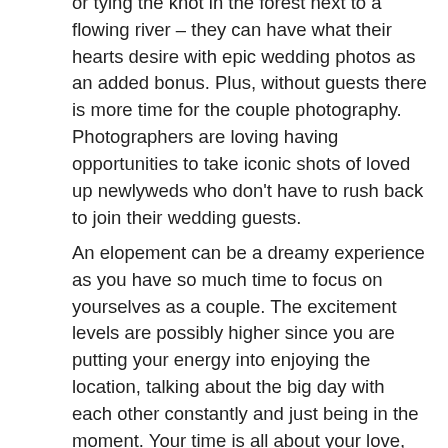or tying the knot in the forest next to a flowing river – they can have what their hearts desire with epic wedding photos as an added bonus. Plus, without guests there is more time for the couple photography. Photographers are loving having opportunities to take iconic shots of loved up newlyweds who don't have to rush back to join their wedding guests.
An elopement can be a dreamy experience as you have so much time to focus on yourselves as a couple. The excitement levels are possibly higher since you are putting your energy into enjoying the location, talking about the big day with each other constantly and just being in the moment. Your time is all about your love, your wedding and your dreams of a wonderful future together.
There's no uncomfortable wedding rehearsal, long welcome dinner or hour-long conversations with Uncle Joe about how he would have been a wedding...